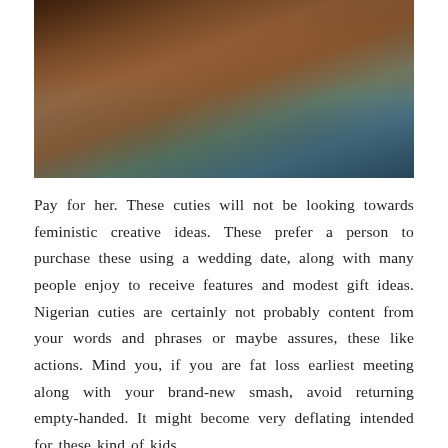[Figure (photo): Close-up photograph of a person's torso and midsection, wearing a teal/green garment, dark moody lighting with brown and teal tones]
Pay for her. These cuties will not be looking towards feministic creative ideas. These prefer a person to purchase these using a wedding date, along with many people enjoy to receive features and modest gift ideas. Nigerian cuties are certainly not probably content from your words and phrases or maybe assures, these like actions. Mind you, if you are fat loss earliest meeting along with your brand-new smash, avoid returning empty-handed. It might become very deflating intended for these kind of kids.